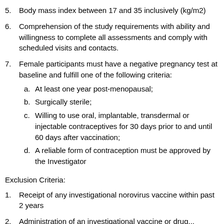5. Body mass index between 17 and 35 inclusively (kg/m2)
6. Comprehension of the study requirements with ability and willingness to complete all assessments and comply with scheduled visits and contacts.
7. Female participants must have a negative pregnancy test at baseline and fulfill one of the following criteria: a. At least one year post-menopausal; b. Surgically sterile; c. Willing to use oral, implantable, transdermal or injectable contraceptives for 30 days prior to and until 60 days after vaccination; d. A reliable form of contraception must be approved by the Investigator
Exclusion Criteria:
1. Receipt of any investigational norovirus vaccine within past 2 years
2. Administration of an investigational vaccine or drug...